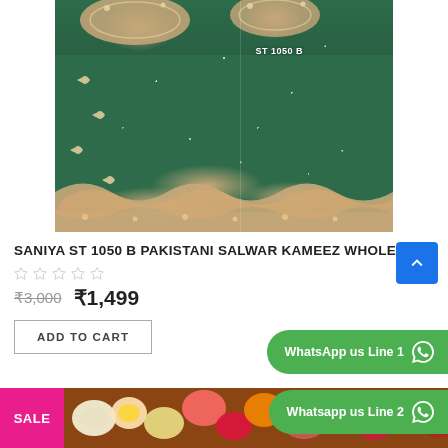[Figure (photo): Dark green Pakistani Salwar Kameez fabric with gold/beige embroidery and sequin details. Text overlay reads 'ST 1050 B'.]
SANIYA ST 1050 B PAKISTANI SALWAR KAMEEZ WHOLES...
★★★★★ (empty stars rating)
₹3,000  ₹1,499
WhatsApp us Line 1
ADD TO CART
Whatsapp us Line 2
SALE
[Figure (photo): Partial view of colorful floral fabric/product at the bottom of the page.]